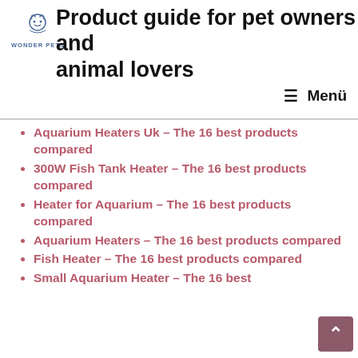Product guide for pet owners and animal lovers
Aquarium Heaters Uk – The 16 best products compared
300W Fish Tank Heater – The 16 best products compared
Heater for Aquarium – The 16 best products compared
Aquarium Heaters – The 16 best products compared
Fish Heater – The 16 best products compared
Small Aquarium Heater – The 16 best products compared